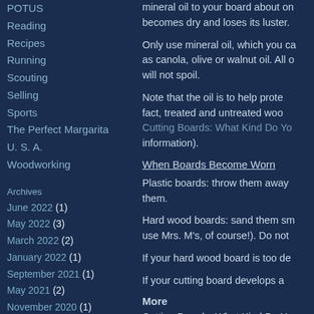POTUS
Reading
Recipes
Running
Scouting
Selling
Sports
The Perfect Margarita
U. S. A.
Woodworking
Archives
June 2022 (1)
May 2022 (3)
March 2022 (2)
January 2022 (1)
September 2021 (1)
May 2021 (2)
November 2020 (1)
September 2020 (5)
July 2020 (1)
mineral oil to your board about once a month, or when it becomes dry and loses its luster.
Only use mineral oil, which you can find at any pharmacy, as canola, olive or walnut oil. All of these spoil. Mineral oil will not spoil.
Note that the oil is to help protect the wood. But in fact, treated and untreated wood both get bacteria. (See Cutting Boards: What Kind Do You Use? for more information).
When Boards Become Worn
Plastic boards: throw them away when grooves develop in them.
Hard wood boards: sand them smooth (you can purchase and use Mrs. M's, of course!). Do not
If your hard wood board is too de
If your cutting board develops a
More
Cutting Boards: What Kind Do Yo...